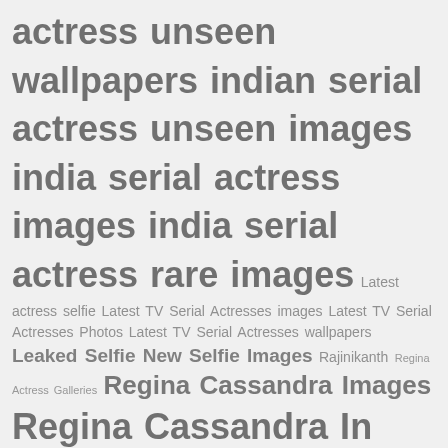actress unseen wallpapers indian serial actress unseen images india serial actress images india serial actress rare images Latest actress selfie Latest TV Serial Actresses images Latest TV Serial Actresses Photos Latest TV Serial Actresses wallpapers Leaked Selfie New Selfie Images Rajinikanth Regina Actress Galleries Regina Cassandra Images Regina Cassandra In Saree Photos Regina Cassandra In Saree Stills Selfie Selfie Pics Selfie Stills Simpliselfie Simpli Selfie Star Vijay TV SUN TV Shows Sun TV vaani rani Serial Actress Images SUV TV Serials tamil tv actress photos TV Actress Wallpapers 2016 TV Serial Actress Photos TV Serial HD Photos tv stars wallpapers Unseen Selfie Vijay TV Serials Vijay TV Shows zeetamil episodes of Junior Superstars